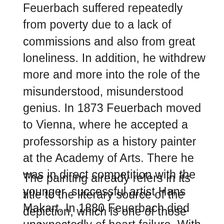Feuerbach suffered repeatedly from poverty due to a lack of commissions and also from great loneliness. In addition, he withdrew more and more into the role of the misunderstood, misunderstood genius. In 1873 Feuerbach moved to Vienna, where he accepted a professorship as a history painter at the Academy of Arts. There he was in direct competition with the younger, successful artist Hans Makart. In 1880 Feuerbach died unexpectedly of heart failure. With this knowledge of Feuerbach's life, we now look at the first version of Plato's Guest Supper.
The painting already refers in its title to the literary source of the depiction, which is one of those dialogues in